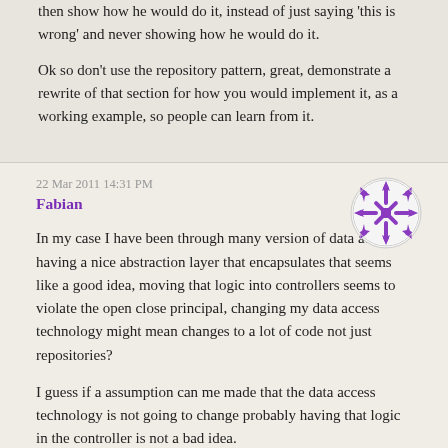then show how he would do it, instead of just saying 'this is wrong' and never showing how he would do it.
Ok so don't use the repository pattern, great, demonstrate a rewrite of that section for how you would implement it, as a working example, so people can learn from it.
22 Mar 2011 14:31 PM
Fabian
[Figure (illustration): Purple/violet avatar icon with geometric snowflake-like pattern]
In my case I have been through many version of data access, having a nice abstraction layer that encapsulates that seems like a good idea, moving that logic into controllers seems to violate the open close principal, changing my data access technology might mean changes to a lot of code not just repositories?
I guess if a assumption can me made that the data access technology is not going to change probably having that logic in the controller is not a bad idea.